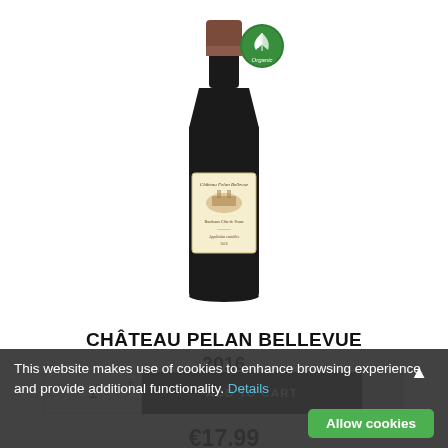[Figure (photo): Wine bottle of Château Pelan Bellevue 2016 with cream label, dark glass, and an organic badge (green circle with leaf) in the top right of the bottle image]
CHÂTEAU PELAN BELLEVUE
2016
[Figure (other): Five orange/yellow star rating icons in a row]
€17.99
1
ADD TO CART
This website makes use of cookies to enhance browsing experience and provide additional functionality. Details
Allow cookies